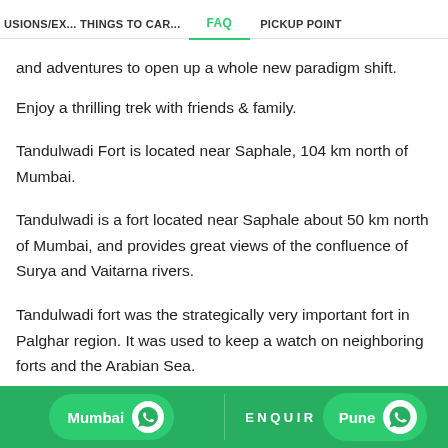USIONS/EX... THINGS TO CAR... FAQ PICKUP POINT
and adventures to open up a whole new paradigm shift.
Enjoy a thrilling trek with friends & family.
Tandulwadi Fort is located near Saphale, 104 km north of Mumbai.
Tandulwadi is a fort located near Saphale about 50 km north of Mumbai, and provides great views of the confluence of Surya and Vaitarna rivers.
Tandulwadi fort was the strategically very important fort in Palghar region. It was used to keep a watch on neighboring forts and the Arabian Sea.
Mumbai  ENQUIR  Pune